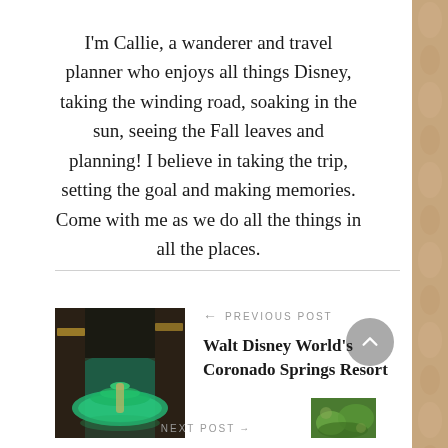I'm Callie, a wanderer and travel planner who enjoys all things Disney, taking the winding road, soaking in the sun, seeing the Fall leaves and planning! I believe in taking the trip, setting the goal and making memories. Come with me as we do all the things in all the places.
← PREVIOUS POST
[Figure (photo): Photo of a fountain with green-lit water inside what appears to be the Coronado Springs Resort at Walt Disney World]
Walt Disney World's Coronado Springs Resort
NEXT POST →